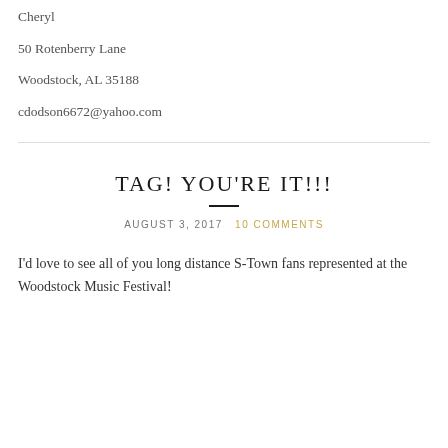Cheryl
50 Rotenberry Lane
Woodstock, AL 35188
cdodson6672@yahoo.com
TAG! YOU'RE IT!!!
AUGUST 3, 2017   10 COMMENTS
I'd love to see all of you long distance S-Town fans represented at the Woodstock Music Festival!